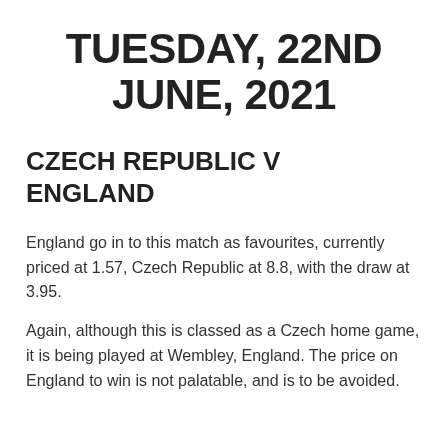TUESDAY, 22ND JUNE, 2021
CZECH REPUBLIC V ENGLAND
England go in to this match as favourites, currently priced at 1.57, Czech Republic at 8.8, with the draw at 3.95.
Again, although this is classed as a Czech home game, it is being played at Wembley, England. The price on England to win is not palatable, and is to be avoided.